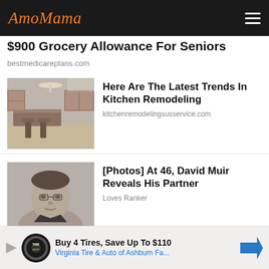AmoMama
$900 Grocery Allowance For Seniors
bestmedicareplans.com
[Figure (photo): Kitchen interior photo thumbnail]
Here Are The Latest Trends In Kitchen Remodeling
kitchenremodelingsusservice.com
[Figure (photo): Portrait photo thumbnail of David Muir]
[Photos] At 46, David Muir Reveals His Partner
Loves Ranker
[Figure (infographic): Bottom advertisement: Buy 4 Tires, Save Up To $110 — Virginia Tire & Auto of Ashburn Fa...]